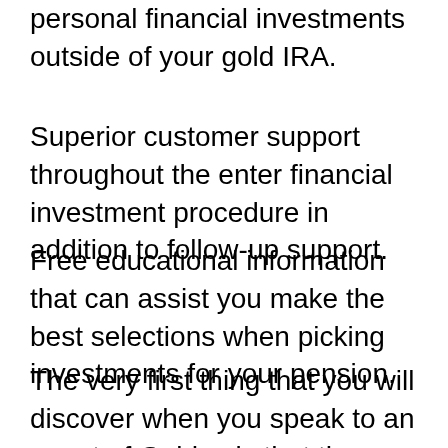personal financial investments outside of your gold IRA.
Superior customer support throughout the enter financial investment procedure in addition to follow-up support.
Free educational information that can assist you make the best selections when picking investments for your pension.
The very first thing that you will discover when you speak to an agent of Goldco is that they are extremely experienced regarding their products and services. You are not consistently positioned on hold while they “figure out” the answers to your questions. They are likewise very quick to react to email